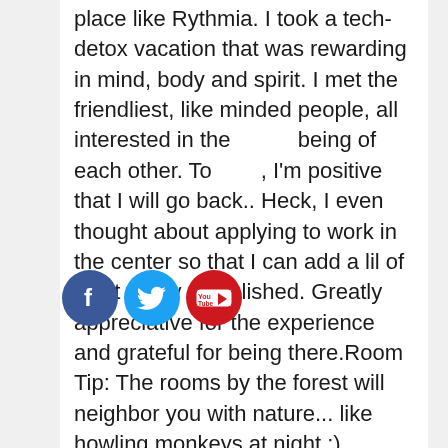place like Rythmia. I took a tech-detox vacation that was rewarding in mind, body and spirit. I met the friendliest, like minded people, all interested in the well being of each other. To this day, I'm positive that I will go back.. Heck, I even thought about applying to work in the center so that I can add a lil of what Gerry established. Greatly appreciative for the experience and grateful for being there.Room Tip: The rooms by the forest will neighbor you with nature... like howling monkeys at night :). Stayed November 2016, traveled solo
[Figure (logo): Social media icons: Facebook (blue circle with f), Twitter (light blue circle with bird), YouTube (red circle with YouTube logo)]